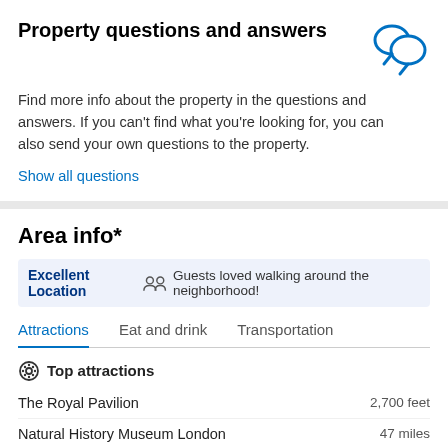Property questions and answers
Find more info about the property in the questions and answers. If you can't find what you're looking for, you can also send your own questions to the property.
Show all questions
Area info*
Excellent Location  Guests loved walking around the neighborhood!
Attractions  Eat and drink  Transportation
Top attractions
The Royal Pavilion  2,700 feet
Natural History Museum London  47 miles
Victoria and Albert Museum  47 miles
What's nearby